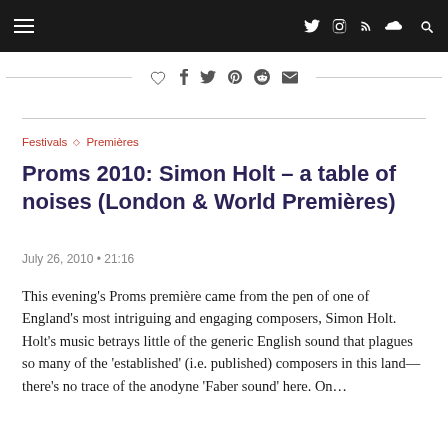≡  [Twitter] [Instagram] [RSS] [Soundcloud] [Search]
♡  f  🐦  𝗽  🔴  ✉
Festivals ◇ Premières
Proms 2010: Simon Holt – a table of noises (London & World Premières)
July 26, 2010 • 21:16
This evening's Proms première came from the pen of one of England's most intriguing and engaging composers, Simon Holt. Holt's music betrays little of the generic English sound that plagues so many of the 'established' (i.e. published) composers in this land—there's no trace of the anodyne 'Faber sound' here. On...